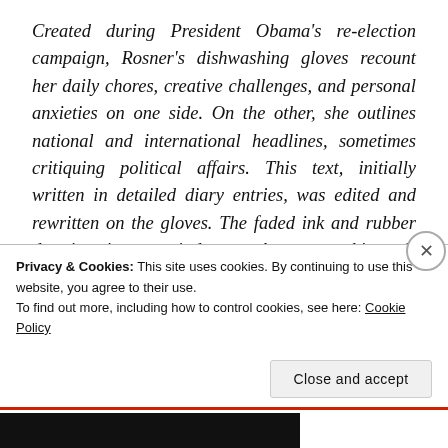Created during President Obama's re-election campaign, Rosner's dishwashing gloves recount her daily chores, creative challenges, and personal anxieties on one side. On the other, she outlines national and international headlines, sometimes critiquing political affairs. This text, initially written in detailed diary entries, was edited and rewritten on the gloves. The faded ink and rubber deterioration remind us that everything is ultimately ephemeral. The more permanent-looking flag, a bandana Rosner bought at the Army/Navy Surplus on Thayer Street, features simplified versions of the dishwashing gloves–a metanarrative on the
Privacy & Cookies: This site uses cookies. By continuing to use this website, you agree to their use.
To find out more, including how to control cookies, see here: Cookie Policy
Close and accept